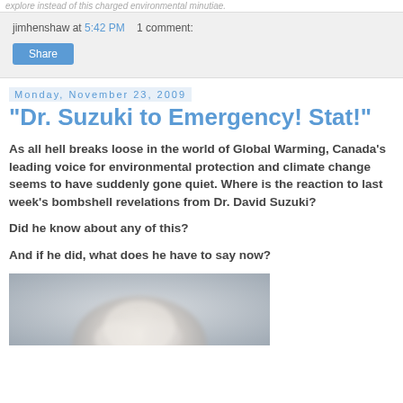explore instead of this charged environmental minutiae.
jimhenshaw at 5:42 PM    1 comment:
Share
Monday, November 23, 2009
"Dr. Suzuki to Emergency! Stat!"
As all hell breaks loose in the world of Global Warming, Canada's leading voice for environmental protection and climate change seems to have suddenly gone quiet. Where is the reaction to last week's bombshell revelations from Dr. David Suzuki?
Did he know about any of this?
And if he did, what does he have to say now?
[Figure (photo): Blurred/fuzzy white-haired person or animal photo, partially visible at bottom of page]